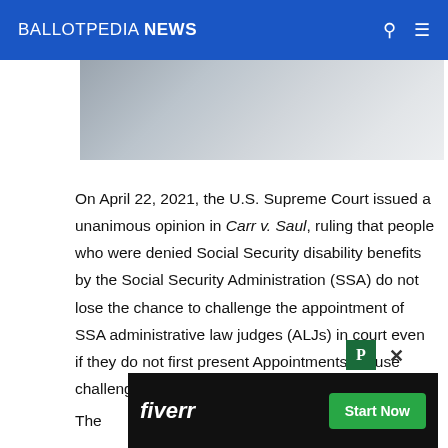BALLOTPEDIA NEWS
[Figure (photo): Partial view of a building exterior with steps and railings, grayscale tones]
On April 22, 2021, the U.S. Supreme Court issued a unanimous opinion in Carr v. Saul, ruling that people who were denied Social Security disability benefits by the Social Security Administration (SSA) do not lose the chance to challenge the appointment of SSA administrative law judges (ALJs) in court even if they do not first present Appointments Clause challenges during agency proceedings.
[Figure (screenshot): Fiverr advertisement banner with Start Now button]
The